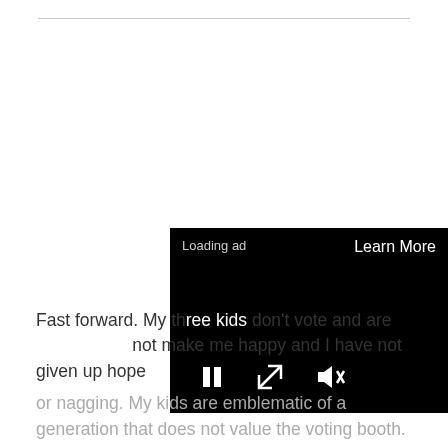[Figure (screenshot): Black ad video overlay with 'Loading ad' text, 'Learn More' button, pause button, expand button, and mute button controls]
Fast forward. My th... don't vote and are ... not make me happy and I have not given up hope or nagging. My kids are emblematic of a generation that does not value the voting booth. As the chart